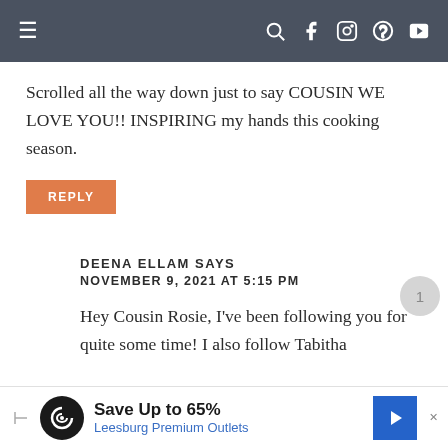Navigation bar with hamburger menu and social icons
Scrolled all the way down just to say COUSIN WE LOVE YOU!! INSPIRING my hands this cooking season.
REPLY
DEENA ELLAM SAYS
NOVEMBER 9, 2021 AT 5:15 PM
Hey Cousin Rosie, I've been following you for quite some time! I also follow Tabitha
[Figure (other): Advertisement banner: Save Up to 65% Leesburg Premium Outlets with logo and blue arrow]
Save Up to 65% Leesburg Premium Outlets